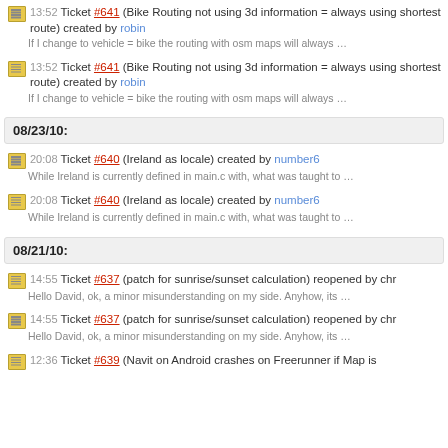13:52 Ticket #641 (Bike Routing not using 3d information = always using shortest route) created by robin
If I change to vehicle = bike the routing with osm maps will always …
13:52 Ticket #641 (Bike Routing not using 3d information = always using shortest route) created by robin
If I change to vehicle = bike the routing with osm maps will always …
08/23/10:
20:08 Ticket #640 (Ireland as locale) created by number6
While Ireland is currently defined in main.c with, what was taught to …
20:08 Ticket #640 (Ireland as locale) created by number6
While Ireland is currently defined in main.c with, what was taught to …
08/21/10:
14:55 Ticket #637 (patch for sunrise/sunset calculation) reopened by chr
Hello David, ok, a minor misunderstanding on my side. Anyhow, its …
14:55 Ticket #637 (patch for sunrise/sunset calculation) reopened by chr
Hello David, ok, a minor misunderstanding on my side. Anyhow, its …
12:36 Ticket #639 (Navit on Android crashes on Freerunner if Map is